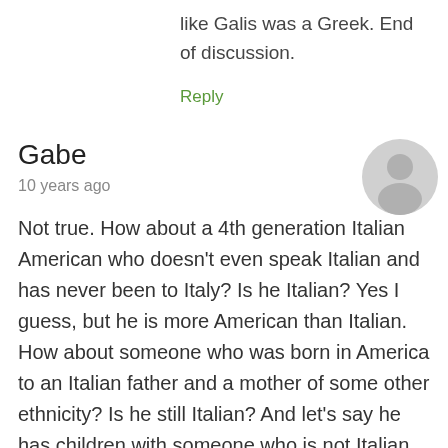like Galis was a Greek. End of discussion.
Reply
Gabe
10 years ago
[Figure (illustration): Generic grey user avatar icon (circle with person silhouette)]
Not true. How about a 4th generation Italian American who doesn't even speak Italian and has never been to Italy? Is he Italian? Yes I guess, but he is more American than Italian. How about someone who was born in America to an Italian father and a mother of some other ethnicity? Is he still Italian? And let's say he has children with someone who is not Italian either. So the child in 1/4 Italian